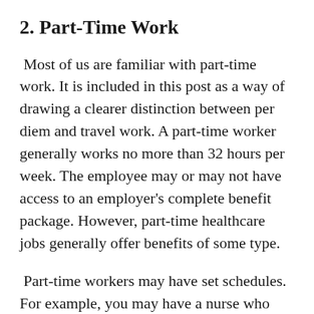2. Part-Time Work
Most of us are familiar with part-time work. It is included in this post as a way of drawing a clearer distinction between per diem and travel work. A part-time worker generally works no more than 32 hours per week. The employee may or may not have access to an employer's complete benefit package. However, part-time healthcare jobs generally offer benefits of some type.
Part-time workers may have set schedules. For example, you may have a nurse who works three weekend shifts – a single 12-hour shift